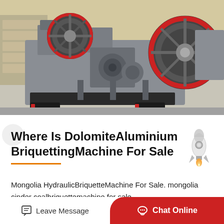[Figure (photo): Industrial briquetting machine in gray with red flywheel components, displayed in a factory/warehouse setting with other heavy machinery in the background.]
Where Is DolomiteAluminium BriquettingMachine For Sale
Mongolia HydraulicBriquetteMachine For Sale. mongolia cinder coalbriquettemachine for sale. SawdustBriquetteMachine For Sale In Mongolia Scaie Coalbrig...
Leave Message
Chat Online